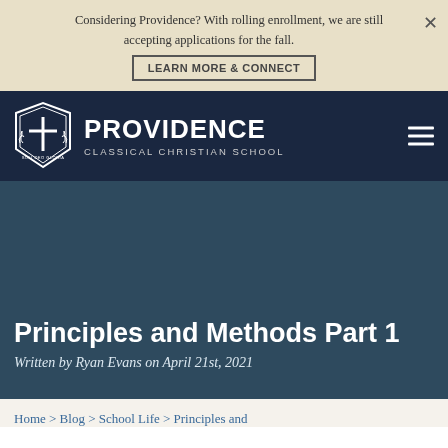Considering Providence? With rolling enrollment, we are still accepting applications for the fall.
LEARN MORE & CONNECT
[Figure (logo): Providence Classical Christian School shield logo with cross and laurel wreath, text SOLI DEO GLORIA]
PROVIDENCE CLASSICAL CHRISTIAN SCHOOL
Principles and Methods Part 1
Written by Ryan Evans on April 21st, 2021
Home > Blog > School Life > Principles and